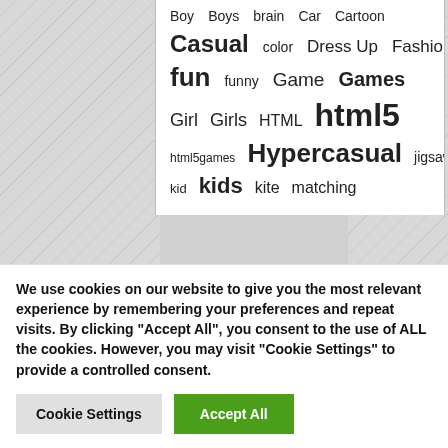[Figure (other): Tag cloud showing game-related tags in varying font sizes: Boy, Boys, brain, Car, Cartoon, Casual, color, Dress Up, Fashion, fun, funny, Game, Games, Girl, Girls, HTML, html5, html5games, Hypercasual, jigsaw, kid, kids, matching (partially visible)]
We use cookies on our website to give you the most relevant experience by remembering your preferences and repeat visits. By clicking "Accept All", you consent to the use of ALL the cookies. However, you may visit "Cookie Settings" to provide a controlled consent.
Cookie Settings
Accept All